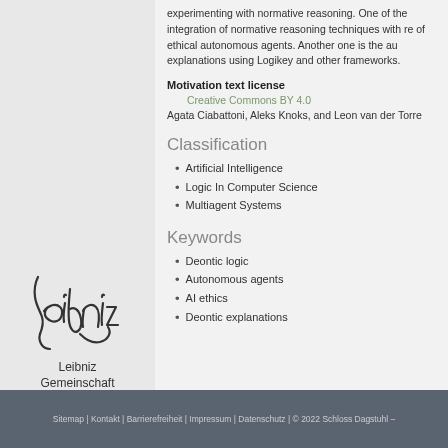experimenting with normative reasoning. One of the integration of normative reasoning techniques with re of ethical autonomous agents. Another one is the au explanations using Logikey and other frameworks.
Motivation text license
Creative Commons BY 4.0
Agata Ciabattoni, Aleks Knoks, and Leon van der Torre
Classification
Artificial Intelligence
Logic In Computer Science
Multiagent Systems
Keywords
Deontic logic
Autonomous agents
AI ethics
Deontic explanations
[Figure (logo): Leibniz Gemeinschaft logo with cursive signature and text]
Sitemap | Kontakt | Barrierefreiheit | Impressum | Datenschutz | © 2022 Schloss Dagstuhl –